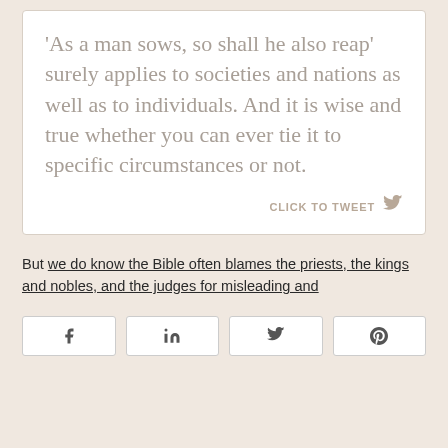'As a man sows, so shall he also reap' surely applies to societies and nations as well as to individuals. And it is wise and true whether you can ever tie it to specific circumstances or not.
CLICK TO TWEET
But we do know the Bible often blames the priests, the kings and nobles, and the judges for misleading and
[Figure (infographic): Four social share buttons: Facebook, LinkedIn, Twitter, Pinterest]